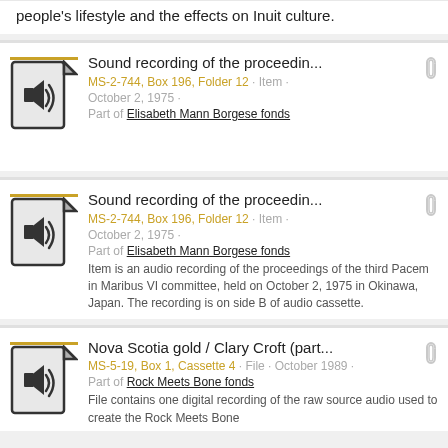people's lifestyle and the effects on Inuit culture.
Sound recording of the proceedin... MS-2-744, Box 196, Folder 12 · Item · October 2, 1975 · Part of Elisabeth Mann Borgese fonds
Sound recording of the proceedin... MS-2-744, Box 196, Folder 12 · Item · October 2, 1975 · Part of Elisabeth Mann Borgese fonds. Item is an audio recording of the proceedings of the third Pacem in Maribus VI committee, held on October 2, 1975 in Okinawa, Japan. The recording is on side B of audio cassette.
Nova Scotia gold / Clary Croft (part... MS-5-19, Box 1, Cassette 4 · File · October 1989 · Part of Rock Meets Bone fonds. File contains one digital recording of the raw source audio used to create the Rock Meets Bone